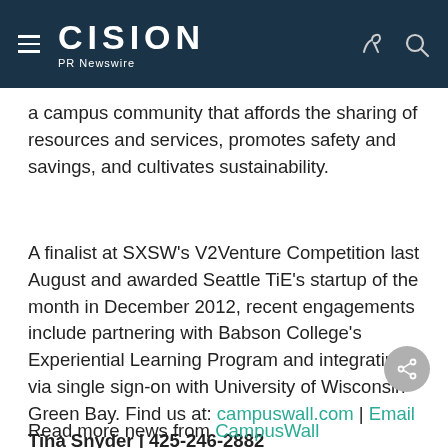CISION PR Newswire
a campus community that affords the sharing of resources and services, promotes safety and savings, and cultivates sustainability.
A finalist at SXSW's V2Venture Competition last August and awarded Seattle TiE's startup of the month in December 2012, recent engagements include partnering with Babson College's Experiential Learning Program and integrating via single sign-on with University of Wisconsin-Green Bay. Find us at: campuswall.com | Email Tina Snyder | 425-246-2882
Read more news from CampusWall